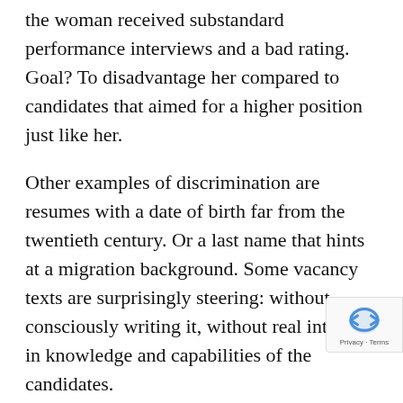the woman received substandard performance interviews and a bad rating. Goal? To disadvantage her compared to candidates that aimed for a higher position just like her.
Other examples of discrimination are resumes with a date of birth far from the twentieth century. Or a last name that hints at a migration background. Some vacancy texts are surprisingly steering: without consciously writing it, without real interest in knowledge and capabilities of the candidates.
Mandatory policy
This has to change, states the Minister of State. That’s why “ignorance” with felonies should be tackled. inspection SZW gets the jurisdiction to control companies on being conscious about discrimination.